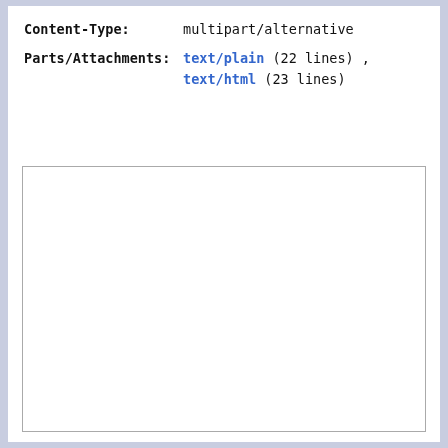| Field | Value |
| --- | --- |
| Content-Type: | multipart/alternative |
| Parts/Attachments: | text/plain (22 lines) , text/html (23 lines) |
[Figure (other): Empty white rectangular content area with a thin gray border, representing an email body preview pane with no visible content.]